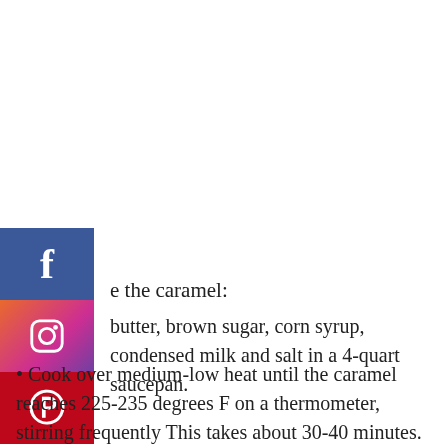[Figure (infographic): Social media share buttons: Facebook (blue), Instagram (gradient pink/purple), Pinterest (red) stacked vertically on the left side]
e the caramel:
butter, brown sugar, corn syrup, condensed milk and salt in a 4-quart saucepan.
• Cook over medium-low heat until the caramel reaches 225-235 degrees F on a thermometer, stirring frequently This takes about 30-40 minutes. Do stir and it...